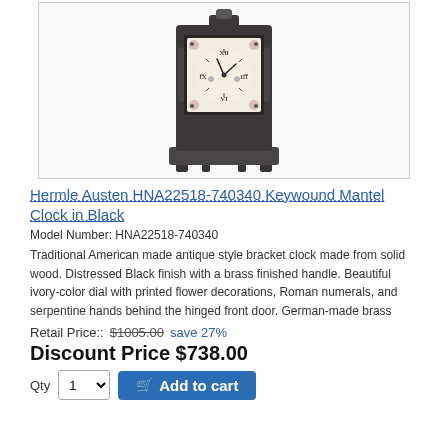[Figure (photo): Hermle Austen Keywound Mantel Clock in Black finish with ivory dial and floral decorations, sitting on a base with small feet.]
Hermle Austen HNA22518-740340 Keywound Mantel Clock in Black
Model Number: HNA22518-740340
Traditional American made antique style bracket clock made from solid wood. Distressed Black finish with a brass finished handle. Beautiful ivory-color dial with printed flower decorations, Roman numerals, and serpentine hands behind the hinged front door. German-made brass
Retail Price:: $1005.00 save 27%
Discount Price $738.00